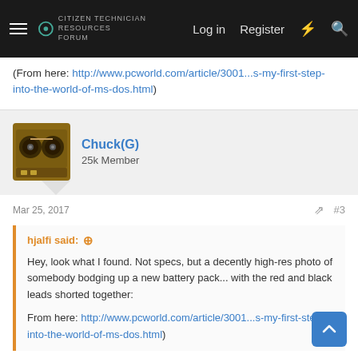Log in   Register
(From here: http://www.pcworld.com/article/3001...s-my-first-step-into-the-world-of-ms-dos.html)
Chuck(G)
25k Member
Mar 25, 2017   #3
hjalfi said: ↑
Hey, look what I found. Not specs, but a decently high-res photo of somebody bodging up a new battery pack... with the red and black leads shorted together:
From here: http://www.pcworld.com/article/3001...s-my-first-step-into-the-world-of-ms-dos.html)
Take another (good)look, the two red leads are connected to the white clip (+) on the battery pack and the black leads are